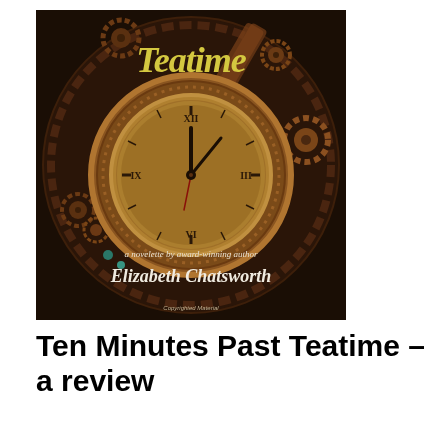[Figure (illustration): Book cover of 'Ten Minutes Past Teatime' — a steampunk-themed novelette cover featuring a large ornate pocket watch/clock face surrounded by bronze gears and mechanical parts on a dark background. The title 'Teatime' is shown in yellow/gold cursive script at the top. Below the clock face it reads 'a novelette by award-winning author' in white italic text, followed by 'Elizabeth Chatsworth' in large white cursive script. Small text at the bottom reads 'Copyrighted Material'.]
Ten Minutes Past Teatime – a review